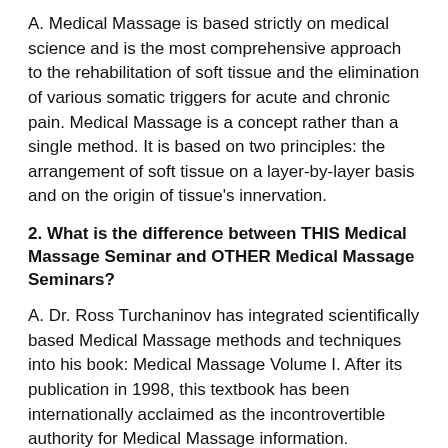A. Medical Massage is based strictly on medical science and is the most comprehensive approach to the rehabilitation of soft tissue and the elimination of various somatic triggers for acute and chronic pain. Medical Massage is a concept rather than a single method. It is based on two principles: the arrangement of soft tissue on a layer-by-layer basis and on the origin of tissue's innervation.
2. What is the difference between THIS Medical Massage Seminar and OTHER Medical Massage Seminars?
A. Dr. Ross Turchaninov has integrated scientifically based Medical Massage methods and techniques into his book: Medical Massage Volume I. After its publication in 1998, this textbook has been internationally acclaimed as the incontrovertible authority for Medical Massage information.
Other sources of Medical Massage education use only elements of this information as their basis. In comparison, our seminar offers the most comprehensive, in-depth clinical information currently available. Dr. Ross personally teaches his seminars in order to give his students a thorough working